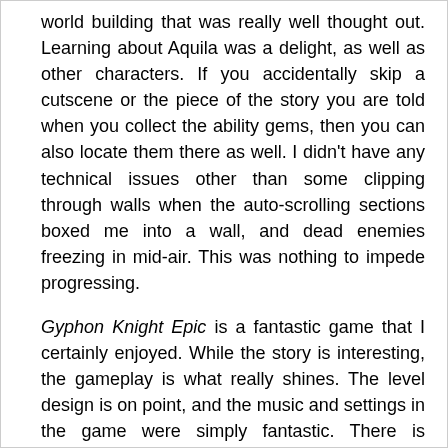world building that was really well thought out. Learning about Aquila was a delight, as well as other characters. If you accidentally skip a cutscene or the piece of the story you are told when you collect the ability gems, then you can also locate them there as well. I didn't have any technical issues other than some clipping through walls when the auto-scrolling sections boxed me into a wall, and dead enemies freezing in mid-air. This was nothing to impede progressing.
Gyphon Knight Epic is a fantastic game that I certainly enjoyed. While the story is interesting, the gameplay is what really shines. The level design is on point, and the music and settings in the game were simply fantastic. There is enough in the game to encourage you to go back and replay each stage again to try to collect and upgrade everything. Gryphon Knight Epic brings the best of older games together and polishes them very well.